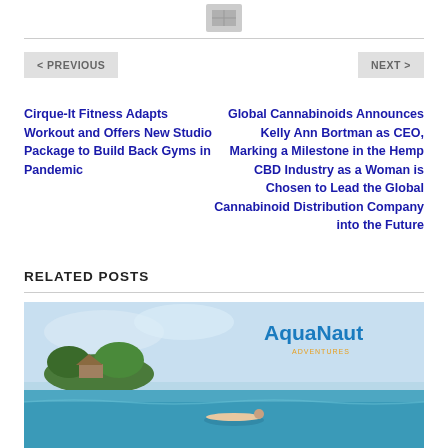[Figure (other): Small icon/image placeholder at top center]
< PREVIOUS
NEXT >
Cirque-It Fitness Adapts Workout and Offers New Studio Package to Build Back Gyms in Pandemic
Global Cannabinoids Announces Kelly Ann Bortman as CEO, Marking a Milestone in the Hemp CBD Industry as a Woman is Chosen to Lead the Global Cannabinoid Distribution Company into the Future
RELATED POSTS
[Figure (photo): AquaNaut branded image showing a tropical beach scene with ocean water, island with trees, and a person on a hammock]